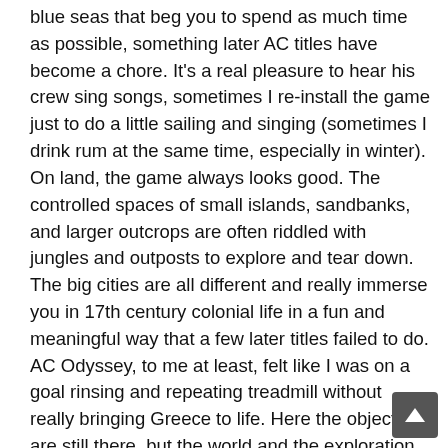blue seas that beg you to spend as much time as possible, something later AC titles have become a chore. It's a real pleasure to hear his crew sing songs, sometimes I re-install the game just to do a little sailing and singing (sometimes I drink rum at the same time, especially in winter). On land, the game always looks good. The controlled spaces of small islands, sandbanks, and larger outcrops are often riddled with jungles and outposts to explore and tear down. The big cities are all different and really immerse you in 17th century colonial life in a fun and meaningful way that a few later titles failed to do. AC Odyssey, to me at least, felt like I was on a goal rinsing and repeating treadmill without really bringing Greece to life. Here the objectives are still there, but the world and the exploration is the reason you want to go somewhere, not just the item you collect.

But it's not just the theme of the buccaneer colonies in the Caribbean that makes AC4 special. Somehow this game is also the story of a man – my fellow Welshman Edward Kenway – who